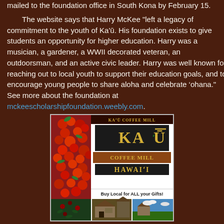mailed to the foundation office in South Kona by February 15. The website says that Harry McKee "left a legacy of commitment to the youth of Ka'ū. His foundation exists to give students an opportunity for higher education. Harry was a musician, a gardener, a WWII decorated veteran, an outdoorsman, and an active civic leader. Harry was well known for reaching out to local youth to support their education goals, and to encourage young people to share aloha and celebrate 'ohana." See more about the foundation at mckeescholarshipfoundation.weebly.com.
[Figure (illustration): Ka'ū Coffee Mill Hawai'i advertisement with coffee berries photo on left, logo in center, and three smaller photos at bottom showing coffee plants, a farm building, and outdoor scenery. Tagline: Buy Local for ALL your Gifts!]